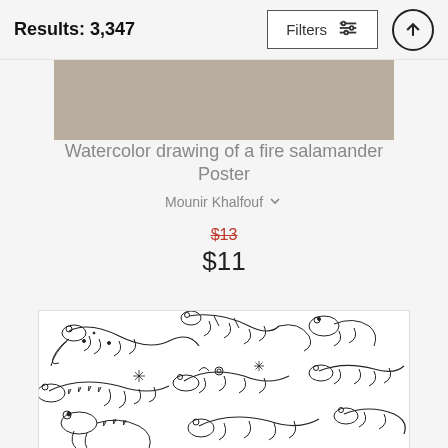Results: 3,347
[Figure (illustration): Partial top view of a poster product showing a tan/beige color block against light gray background]
Watercolor drawing of a fire salamander Poster
Mounir Khalfouf
$13 (strikethrough original price) $11 (sale price)
[Figure (illustration): Line drawing illustration poster showing multiple fire salamanders/lizards in a repeating pattern on white background, black outline style]